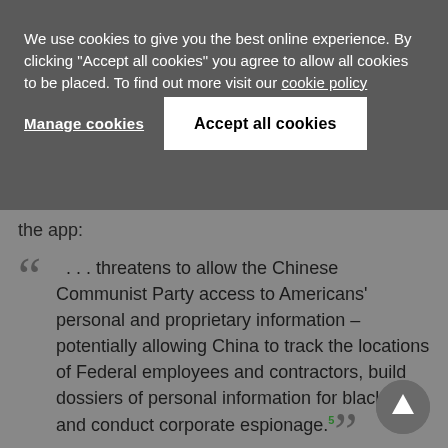We use cookies to give you the best online experience. By clicking "Accept all cookies" you agree to allow all cookies to be placed. To find out more visit our cookie policy
Manage cookies
Accept all cookies
the app:
“ . . . threatens to allow the Chinese Communist Party access to Americans' personal and proprietary information – potentially allowing China to track the locations of Federal employees and contractors, build dossiers of personal information for blackmail, and conduct corporate espionage.5”